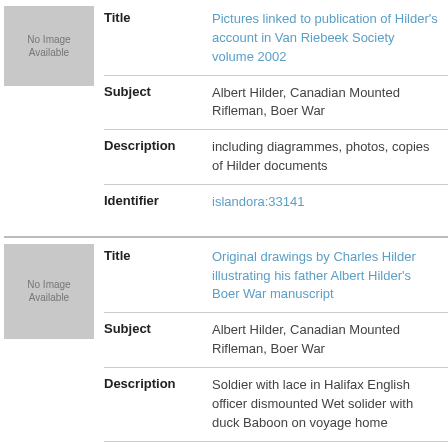[Figure (photo): No Image Available placeholder thumbnail (gray box)]
| Title | Pictures linked to publication of Hilder's account in Van Riebeek Society volume 2002 |
| Subject | Albert Hilder, Canadian Mounted Rifleman, Boer War |
| Description | including diagrammes, photos, copies of Hilder documents |
| Identifier | islandora:33141 |
[Figure (photo): No Image Available placeholder thumbnail (gray box)]
| Title | Original drawings by Charles Hilder illustrating his father Albert Hilder's Boer War manuscript |
| Subject | Albert Hilder, Canadian Mounted Rifleman, Boer War |
| Description | Soldier with lace in Halifax English officer dismounted Wet solider with duck Baboon on voyage home |
| Identifier | islandora:33142 |